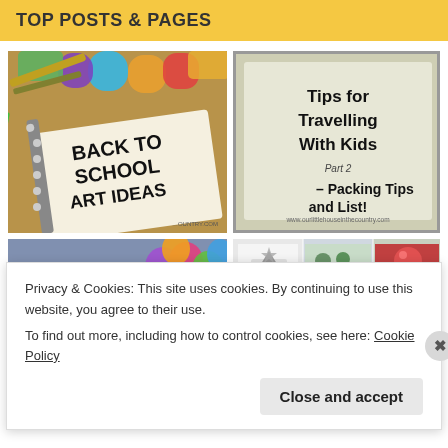TOP POSTS & PAGES
[Figure (photo): Back to school art ideas image with notebook and art supplies]
[Figure (photo): Tips for Travelling With Kids Part 2 – Packing Tips and List! – polaroid-style card image]
[Figure (photo): TOP 10 banner with balloons]
[Figure (photo): Collage of holiday/Christmas themed images]
Privacy & Cookies: This site uses cookies. By continuing to use this website, you agree to their use.
To find out more, including how to control cookies, see here: Cookie Policy
Close and accept